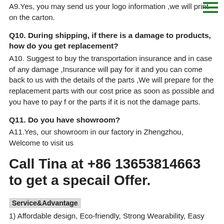A9.Yes, you may send us your logo information ,we will print on the carton.
Q10. During shipping, if there is a damage to products, how do you get replacement?
A10. Suggest to buy the transportation insurance and in case of any damage ,Insurance will pay for it and you can come back to us with the details of the parts ,We will prepare for the replacement parts with our cost price as soon as possible and you have to pay for the parts if it is not the damage parts.
Q11. Do you have showroom?
A11.Yes, our showroom in our factory in Zhengzhou, Welcome to visit us
Call Tina at +86 13653814663 to get a specail Offer.
Service&Advantage
1) Affordable design, Eco-friendly, Strong Wearability, Easy